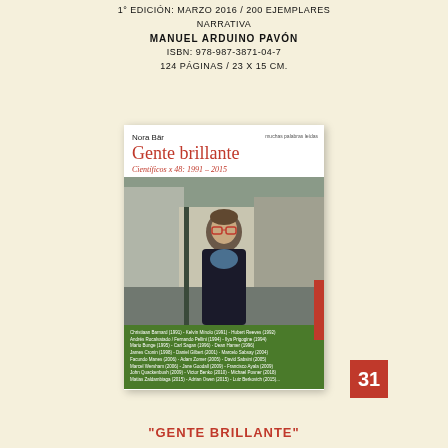1° EDICION: MARZO 2016 / 200 EJEMPLARES
NARRATIVA
MANUEL ARDUINO PAVÓN
ISBN: 978-987-3871-04-7
124 PÁGINAS / 23 X 15 CM.
[Figure (photo): Book cover of 'Gente brillante' by Nora Bär, showing a woman standing on a street, with red title text and a green bar at the bottom listing scientists. Number badge '31' in red on the right side.]
"GENTE BRILLANTE"